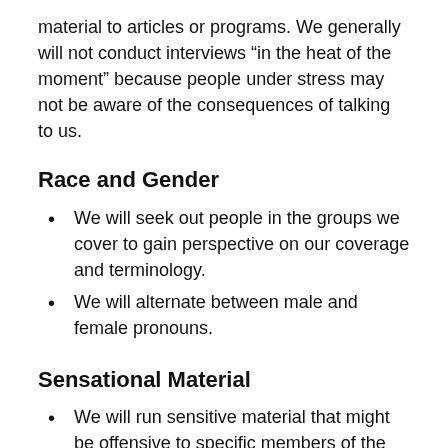material to articles or programs. We generally will not conduct interviews “in the heat of the moment” because people under stress may not be aware of the consequences of talking to us.
Race and Gender
We will seek out people in the groups we cover to gain perspective on our coverage and terminology.
We will alternate between male and female pronouns.
Sensational Material
We will run sensitive material that might be offensive to specific members of the audience after internal debate has demonstrated a clear